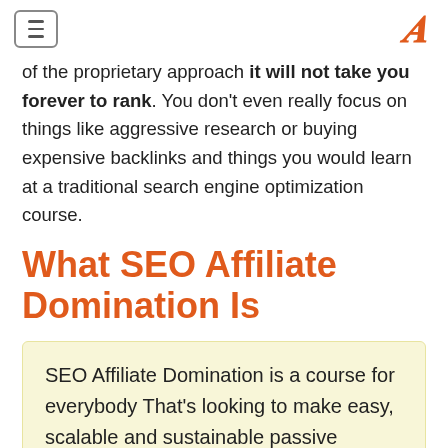[hamburger menu] [A logo]
of the proprietary approach it will not take you forever to rank. You don't even really focus on things like aggressive research or buying expensive backlinks and things you would learn at a traditional search engine optimization course.
What SEO Affiliate Domination Is
SEO Affiliate Domination is a course for everybody That's looking to make easy, scalable and sustainable passive income online